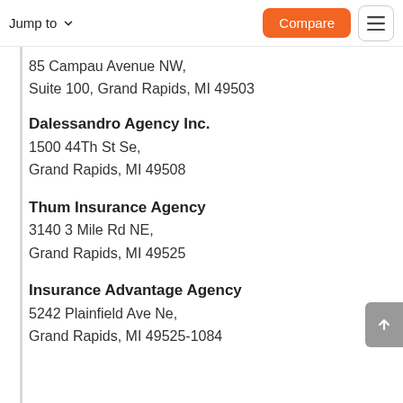Jump to   Compare
85 Campau Avenue NW,
Suite 100, Grand Rapids, MI 49503
Dalessandro Agency Inc.
1500 44Th St Se,
Grand Rapids, MI 49508
Thum Insurance Agency
3140 3 Mile Rd NE,
Grand Rapids, MI 49525
Insurance Advantage Agency
5242 Plainfield Ave Ne,
Grand Rapids, MI 49525-1084